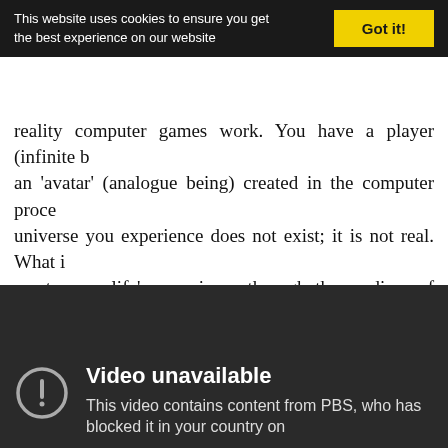This website uses cookies to ensure you get the best experience on our website  Got it!
reality computer games work. You have a player (infinite b… an 'avatar' (analogue being) created in the computer proce… universe you experience does not exist; it is not real. What i… create your life's experience through the medium of your… understand oneness or love by going through separation … human being.
Here is a video that explains the nature of one of the most im…
[Figure (other): Embedded video player showing 'Video unavailable' message. Text reads: 'This video contains content from PBS, who has blocked it in your country on…']